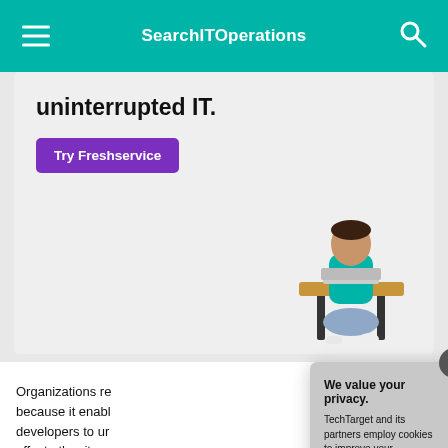SearchITOperations
[Figure (screenshot): Advertisement banner with bold text 'uninterrupted IT.' and a 'Try Freshservice' purple button, with a woman sitting on a bench working on a laptop]
Organizations re... because it enabl... developers to ur... affect other item... management is a... governance and...
Configuration ma... the form of softw... systems enginee...
We value your privacy.
TechTarget and its partners employ cookies to improve your experience on our site, to analyze traffic and performance, and to serve personalized content and advertising that are relevant to your professional interests. You can manage your settings at any time. Please view our Privacy Policy for more information
OK
Settings